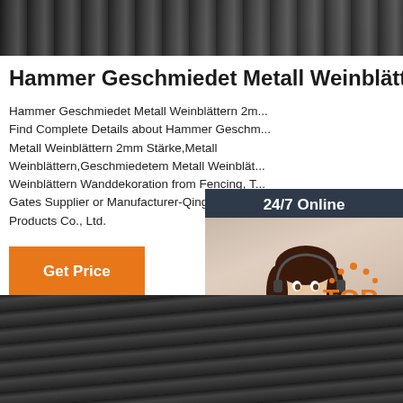[Figure (photo): Dark industrial metal equipment, top image banner]
Hammer Geschmiedet Metall Weinblättern 2mm Stärke -
Hammer Geschmiedet Metall Weinblättern 2mm... Find Complete Details about Hammer Geschmiedet Metall Weinblättern 2mm Stärke,Metall Weinblättern,Geschmiedetem Metall Weinblättern Weinblättern Wanddekoration from Fencing, Trellis & Gates Supplier or Manufacturer-Qingdao Zhan... Products Co., Ltd.
[Figure (infographic): 24/7 Online sidebar with customer service representative photo, Click here for free chat, QUOTATION button]
Get Price
[Figure (logo): TOP logo with orange dots and text]
[Figure (photo): Industrial pipes and equipment, bottom image banner]